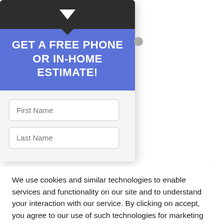[Figure (screenshot): A modal popup card with a dark top header bar containing a downward white triangle/chevron, a blue section with bold white text 'GET A FREE PHONE OR IN-HOME ESTIMATE!', and a light gray form section with two input fields labeled 'First Name' and 'Last Name'. A small gray circle appears to the right of the modal.]
We use cookies and similar technologies to enable services and functionality on our site and to understand your interaction with our service. By clicking on accept, you agree to our use of such technologies for marketing and analytics.
Cookie Settings
Accept